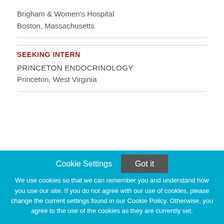Brigham & Women's Hospital
Boston, Massachusetts
SEEKING INTERN
PRINCETON ENDOCRINOLOGY
Princeton, West Virginia
Cookie Settings
Got it
We use cookies so that we can remember you and understand how you use our site. If you do not agree with our use of cookies, please change the current settings found in our Cookie Policy. Otherwise, you agree to the use of the cookies as they are currently set.